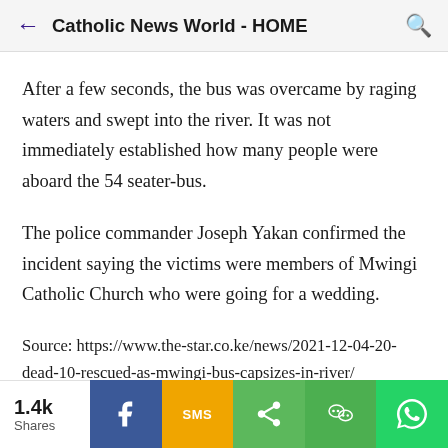Catholic News World - HOME
After a few seconds, the bus was overcame by raging waters and swept into the river. It was not immediately established how many people were aboard the 54 seater-bus.
The police commander Joseph Yakan confirmed the incident saying the victims were members of Mwingi Catholic Church who were going for a wedding.
Source: https://www.the-star.co.ke/news/2021-12-04-20-dead-10-rescued-as-mwingi-bus-capsizes-in-river/
1.4k Shares | Facebook | SMS | Share | WeChat | WhatsApp